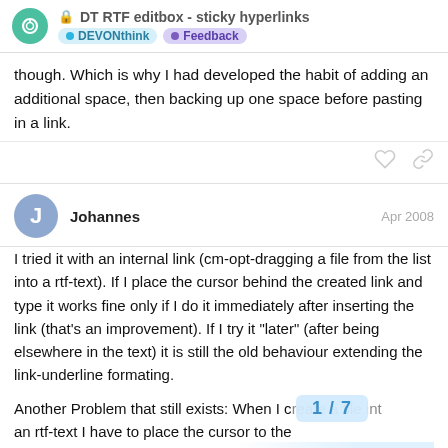DT RTF editbox - sticky hyperlinks | DEVONthink | Feedback
though. Which is why I had developed the habit of adding an additional space, then backing up one space before pasting in a link.
Johannes Apr 2008
I tried it with an internal link (cm-opt-dragging a file from the list into a rtf-text). If I place the cursor behind the created link and type it works fine only if I do it immediately after inserting the link (that's an improvement). If I try it "later" (after being elsewhere in the text) it is still the old behaviour extending the link-underline formating.
Another Problem that still exists: When I c... an rtf-text I have to place the cursor to the... starting to drag. Otherwise the link will go t...
1 / 7